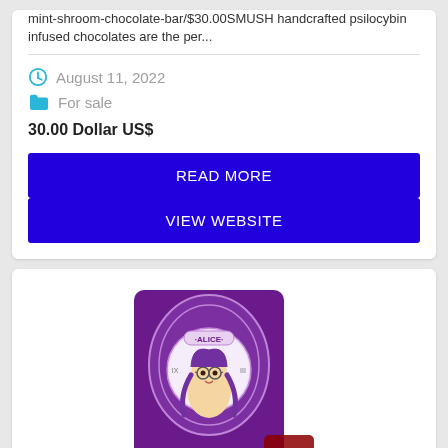mint-shroom-chocolate-bar/$30.00SMUSH handcrafted psilocybin infused chocolates are the per...
August 11, 2022
For sale
30.00 Dollar US$
READ MORE
VIEW WEBSITE
[Figure (photo): Purple product package with illustrated cartoon woman wearing glasses, with clock and decorative art nouveau style design, with text 'ALICE' at top]